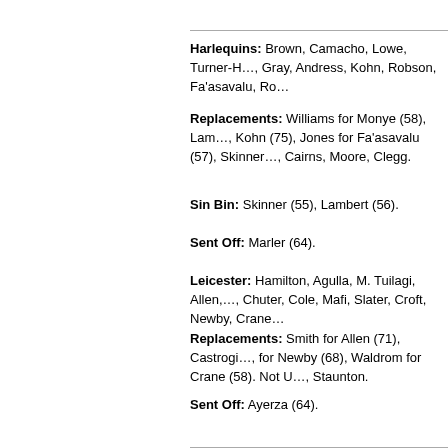Harlequins: Brown, Camacho, Lowe, Turner-H…, Gray, Andress, Kohn, Robson, Fa'asavalu, Ro…
Replacements: Williams for Monye (58), Lam…, Kohn (75), Jones for Fa'asavalu (57), Skinner…, Cairns, Moore, Clegg.
Sin Bin: Skinner (55), Lambert (56).
Sent Off: Marler (64).
Leicester: Hamilton, Agulla, M. Tuilagi, Allen,…, Chuter, Cole, Mafi, Slater, Croft, Newby, Crane…
Replacements: Smith for Allen (71), Castrogi…, for Newby (68), Waldrom for Crane (58). Not U…, Staunton.
Sent Off: Ayerza (64).
Att: 14,282
Ref: Wayne Barnes (RFU).